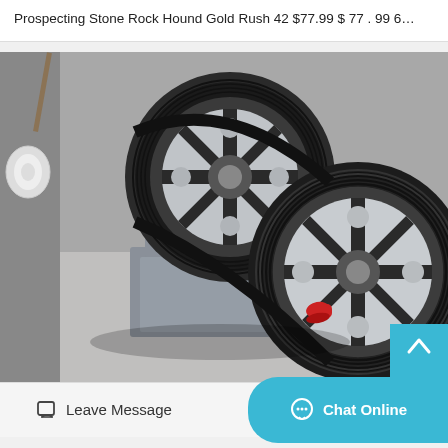Prospecting Stone Rock Hound Gold Rush 42 $77.99 $ 77 . 99 6…
[Figure (photo): Industrial jaw crusher machine with large black belt-driven flywheel pulley, silver/grey metal body, red cylindrical fitting, photographed in a concrete room setting. A white coiled hose or cable is visible on the left side.]
Leave Message
Chat Online